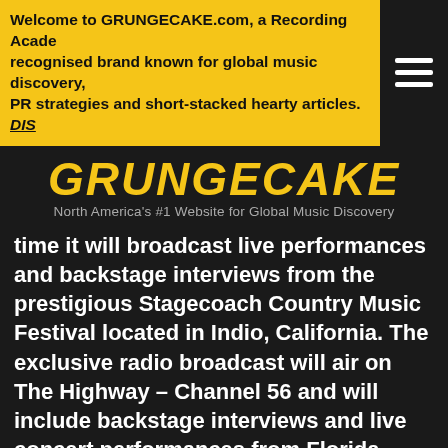Welcome to GRUNGECAKE.com, a Recording Academy recognised brand known for global music discovery, PR strategies and short-stacked hearty articles. DIS
GRUNGECAKE
North America's #1 Website for Global Music Discovery
time it will broadcast live performances and backstage interviews from the prestigious Stagecoach Country Music Festival located in Indio, California. The exclusive radio broadcast will air on The Highway – Channel 56 and will include backstage interviews and live concert performances from Florida Georgia Line, Jake Owen, Kelsea Ballerini, Kane Brown, Brett Young, Lee Brice, and more.
SiriusXM also announced that it will debut the